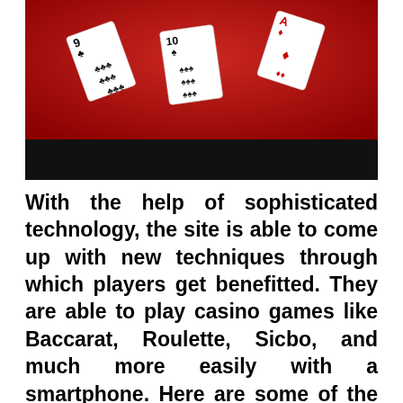[Figure (photo): Three playing cards (9 of clubs, 10 of spades, and a card with diamonds) laid face-up on a red felt casino table surface. A black strip runs across the bottom portion of the image.]
With the help of sophisticated technology, the site is able to come up with new techniques through which players get benefitted. They are able to play casino games like Baccarat, Roulette, Sicbo, and much more easily with a smartphone. Here are some of the reasons why you should choose the site;